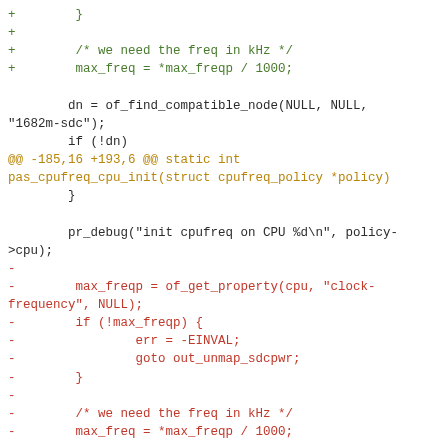Code diff showing changes to cpufreq driver: additions of dn/max_freq handling and removal of max_freqp property reading block, with hunk headers @@ -185,16 +193,6 @@ and @@ -212,9 +210,6 @@